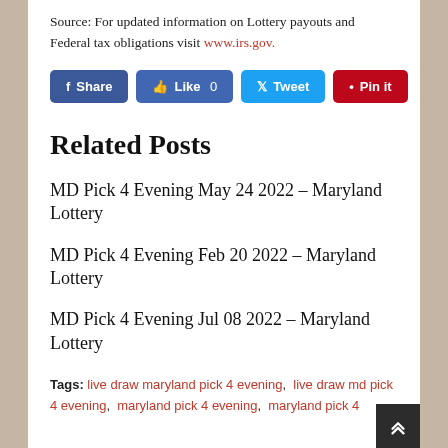Source: For updated information on Lottery payouts and Federal tax obligations visit www.irs.gov.
[Figure (other): Social media sharing buttons: Share (Facebook), Like 0 (Facebook), Tweet (Twitter), Pin it (Pinterest)]
Related Posts
MD Pick 4 Evening May 24 2022 – Maryland Lottery
MD Pick 4 Evening Feb 20 2022 – Maryland Lottery
MD Pick 4 Evening Jul 08 2022 – Maryland Lottery
Tags: live draw maryland pick 4 evening, live draw md pick 4 evening, maryland pick 4 evening, maryland pick 4